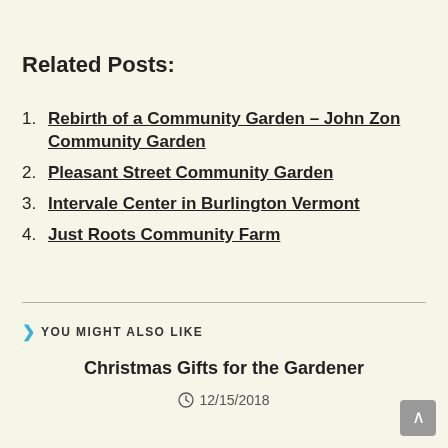Related Posts:
Rebirth of a Community Garden – John Zon Community Garden
Pleasant Street Community Garden
Intervale Center in Burlington Vermont
Just Roots Community Farm
YOU MIGHT ALSO LIKE
Christmas Gifts for the Gardener
12/15/2018